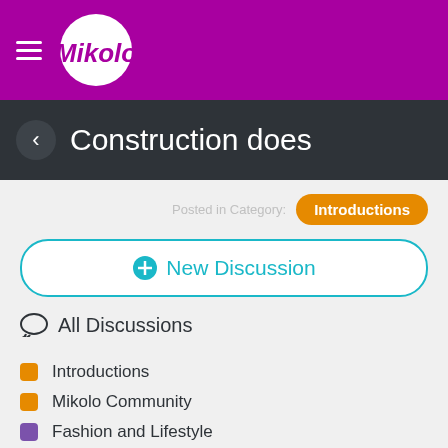Mikolo
Construction does
Posted in Category: Introductions
+ New Discussion
All Discussions
Introductions
Mikolo Community
Fashion and Lifestyle
Etiquette and Advice
Beauty and Attire
Honeymoon